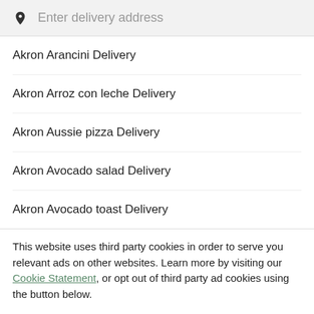[Figure (screenshot): Search bar with location pin icon and placeholder text 'Enter delivery address' on a light grey background]
Akron Arancini Delivery
Akron Arroz con leche Delivery
Akron Aussie pizza Delivery
Akron Avocado salad Delivery
Akron Avocado toast Delivery
This website uses third party cookies in order to serve you relevant ads on other websites. Learn more by visiting our Cookie Statement, or opt out of third party ad cookies using the button below.